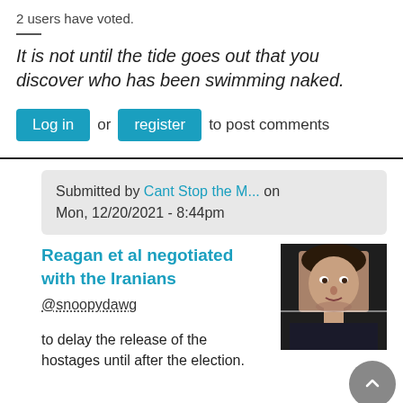2 users have voted.
It is not until the tide goes out that you discover who has been swimming naked.
Log in or register to post comments
Submitted by Cant Stop the M... on Mon, 12/20/2021 - 8:44pm
Reagan et al negotiated with the Iranians
@snoopydawg
to delay the release of the hostages until after the election.